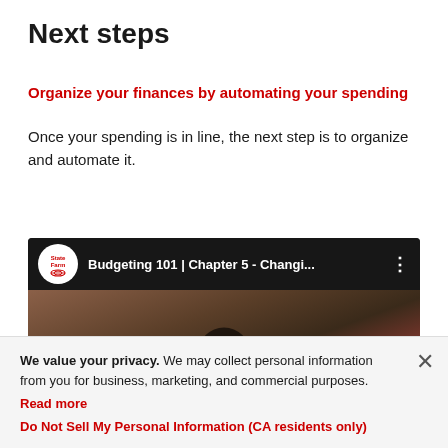Next steps
Organize your finances by automating your spending
Once your spending is in line, the next step is to organize and automate it.
[Figure (screenshot): YouTube video thumbnail for State Farm Budgeting 101 | Chapter 5 - Changi... showing a man and a play button overlay]
We value your privacy. We may collect personal information from you for business, marketing, and commercial purposes. Read more
Do Not Sell My Personal Information (CA residents only)